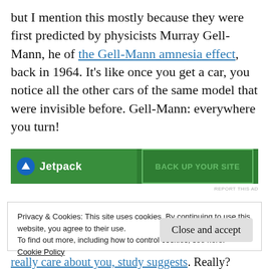but I mention this mostly because they were first predicted by physicists Murray Gell-Mann, he of the Gell-Mann amnesia effect, back in 1964. It's like once you get a car, you notice all the other cars of the same model that were invisible before. Gell-Mann: everywhere you turn!
[Figure (screenshot): Jetpack advertisement banner with green background. Shows Jetpack logo with blue circle icon on left and 'Back up your site' call-to-action button outlined in green on right.]
REPORT THIS AD
Privacy & Cookies: This site uses cookies. By continuing to use this website, you agree to their use.
To find out more, including how to control cookies, see here:
Cookie Policy
really care about you, study suggests. Really?